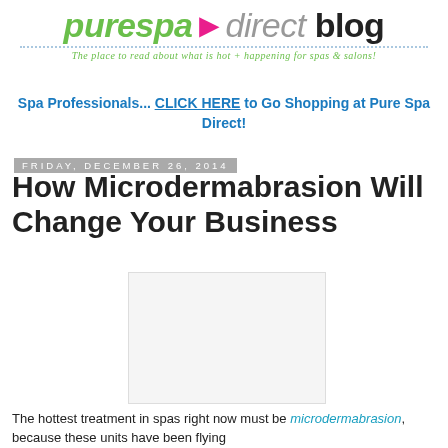purespa direct blog — The place to read about what is hot + happening for spas & salons!
Spa Professionals... CLICK HERE to Go Shopping at Pure Spa Direct!
Friday, December 26, 2014
How Microdermabrasion Will Change Your Business
[Figure (photo): Placeholder image for microdermabrasion article]
The hottest treatment in spas right now must be microdermabrasion, because these units have been flying